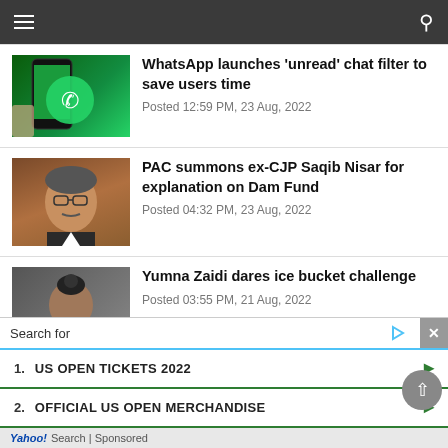Navigation bar with hamburger menu and search icon
[Figure (screenshot): WhatsApp app displayed on a smartphone with green WhatsApp logo]
WhatsApp launches ‘unread’ chat filter to save users time
Posted 12:59 PM, 23 Aug, 2022
[Figure (photo): Portrait photo of ex-CJP Saqib Nisar, an elderly man in a suit with glasses]
PAC summons ex-CJP Saqib Nisar for explanation on Dam Fund
Posted 04:32 PM, 23 Aug, 2022
[Figure (photo): Photo of Yumna Zaidi from behind, showing her hair tied up]
Yumna Zaidi dares ice bucket challenge
Posted 03:55 PM, 21 Aug, 2022
Search for
1. US OPEN TICKETS 2022
2. OFFICIAL US OPEN MERCHANDISE
Yahoo! Search | Sponsored